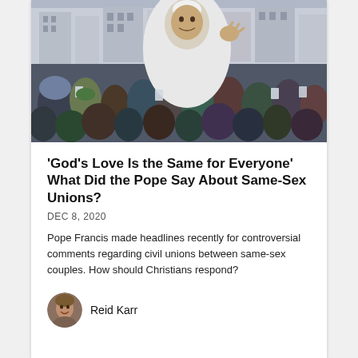[Figure (photo): Pope Francis dressed in white papal vestments waving to a large crowd of people in a public square, likely St. Peter's Square at the Vatican. Many people in the crowd are holding smartphones to take photos.]
'God's Love Is the Same for Everyone' What Did the Pope Say About Same-Sex Unions?
DEC 8, 2020
Pope Francis made headlines recently for controversial comments regarding civil unions between same-sex couples. How should Christians respond?
Reid Karr